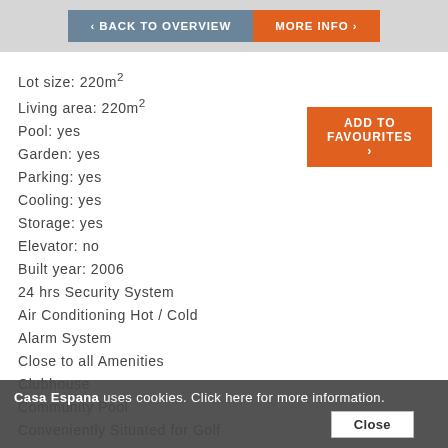‹ BACK TO OVERVIEW
MORE INFO ›
ADD TO FAVOURITES ›
Lot size: 220m²
Living area: 220m²
Pool: yes
Garden: yes
Parking: yes
Cooling: yes
Storage: yes
Elevator: no
Built year: 2006
24 hrs Security System
Air Conditioning Hot/Cold
Alarm System
Close to all Amenities
Clubhouse
Community Pool
Conveniently Situated for Golf
Frontline Golf
Casa Espana uses cookies. Click here for more information.
Close